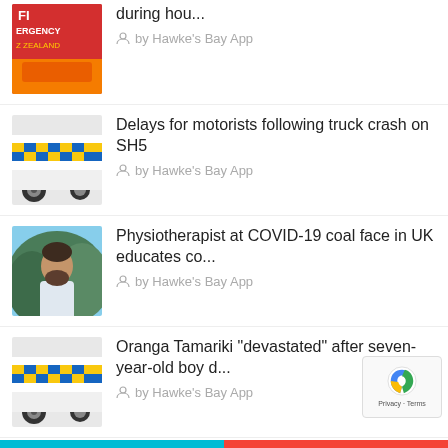[Figure (photo): Fire engine / emergency vehicle thumbnail (partially visible, red with yellow text)]
during hou...
by Hawke's Bay App
[Figure (photo): Police car close-up, blue and yellow checkered pattern on white vehicle]
Delays for motorists following truck crash on SH5
by Hawke's Bay App
[Figure (photo): Man with beard in white shirt standing in front of green foliage]
Physiotherapist at COVID-19 coal face in UK educates co...
by Hawke's Bay App
[Figure (photo): Police car close-up, blue and yellow checkered pattern on white vehicle]
Oranga Tamariki "devastated" after seven-year-old boy d...
by Hawke's Bay App
Outgoing Napier City Council CEO on extended leave for...
by Hawke's Bay App